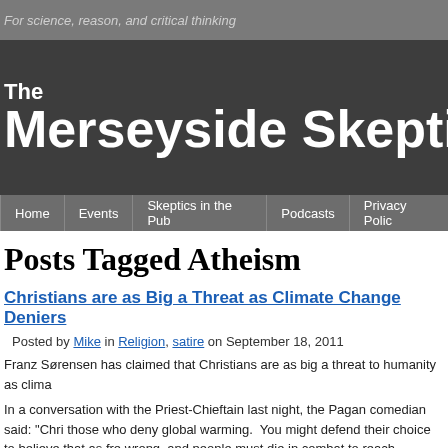For science, reason, and critical thinking
[Figure (screenshot): The Merseyside Skeptics Society website banner with dark grey background and large white bold text]
Home | Events | Skeptics in the Pub | Podcasts | Privacy Policy
Posts Tagged Atheism
Christians are as Big a Threat as Climate Change Deniers
Posted by Mike in Religion, satire on September 18, 2011
Franz Sørensen has claimed that Christians are as big a threat to humanity as clima
In a conversation with the Priest-Chieftain last night, the Pagan comedian said: "Chri those who deny global warming.  You might defend their choice to believe that as fre wrong, and people must die in combat to reach Valhalla, it could be disastrous for mi